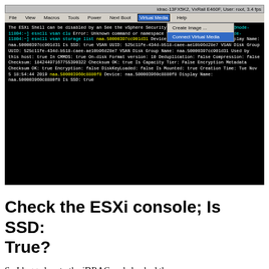[Figure (screenshot): iDRAC virtual console screenshot showing ESXi shell terminal with vsan storage list command output. Menu bar visible with Virtual Media dropdown open showing 'Create Image...' and 'Connect Virtual Media' options. Terminal shows vSAN storage details including naa.50000397cc901d31 device with Is SSD: true, VSAN UUID, VSAN Disk Group UUID, checksums, and other storage properties. Second device naa.500003960c8880f8 partially visible at bottom.]
Check the ESXi console; Is SSD: True?
So I logged on to the iDRAC and checked the